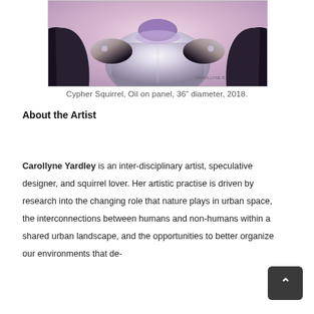[Figure (illustration): Illustration of a robot in white and silver armor with purple accents on the neck and shoulders, against a soft pink-lavender background. Signed 'CAROLLYNE R' in the lower right corner.]
Cypher Squirrel, Oil on panel, 36" diameter, 2018.
About the Artist
Carollyne Yardley is an inter-disciplinary artist, speculative designer, and squirrel lover. Her artistic practise is driven by research into the changing role that nature plays in urban space, the interconnections between humans and non-humans within a shared urban landscape, and the opportunities to better organize our environments that de-